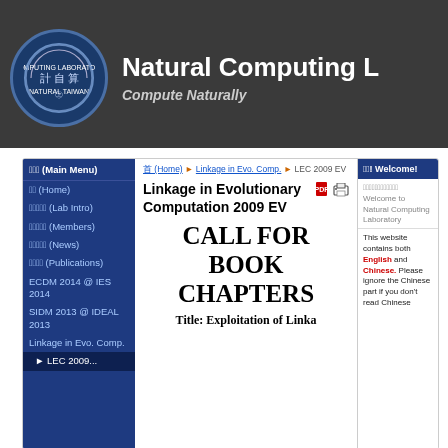Natural Computing Laboratory — Compute Naturally
首頁 (Main Menu)
首頁 (Home)
實驗室簡介 (Lab Intro)
實驗室成員 (Members)
最新消息 (News)
學術著作 (Publications)
ECDM 2014 @ IES 2014
SIDM 2013 @ IDEAL 2013
Linkage in Evo. Comp.
► LEC 2009
首頁 (Home) ► Linkage in Evo. Comp. ► LEC 2009 EV
Linkage in Evolutionary Computation 2009 EV
CALL FOR BOOK CHAPTERS
Title: Exploitation of Linka...
哈囉! Welcome!
歡迎光臨本實驗室網站
Welcome to Natural Computing Laboratory
This website contains both English and Chinese. Please ignore the Chinese part if you don't read Chinese.